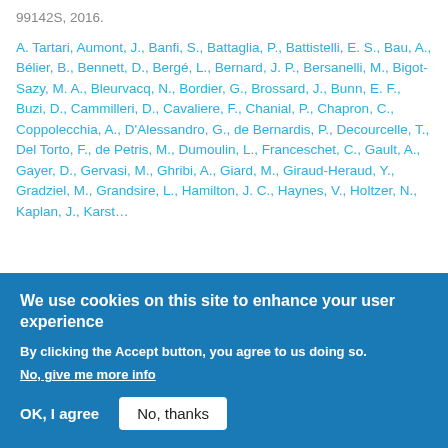99142S, 2016.
A. Tartari, Aumont, J., Banfi, S., Battaglia, P., Battistelli, E. S., Bau, A., Bélier, B., Bennett, D., Bergé, L., Bernard, J. P., Bersanelli, M., Bigot-Sazy, M. A., Bleurvacq, N., Bordier, G., Brossard, J., Bunn, E. F., Buzi, D., Cammilleri, D., Cavaliere, F., Chanial, P., Chapron, C., Coppolecchia, A., D'Alessandro, G., de Bernardis, P., Decourcelle, T., Del Torto, F., de Petris, M., Dumoulin, L., Franceschet, C., Gault, A., Gayer, D., Gervasi, M., Ghribi, A., Giard, M., Giraud-Heraud, Y., Gradziel, M., Grandsire, L., Hamilton, J. C., Haynes, V., Holtzer, N., Kaplan, J., Karst…
We use cookies on this site to enhance your user experience
By clicking the Accept button, you agree to us doing so.
No, give me more info
OK, I agree   No, thanks